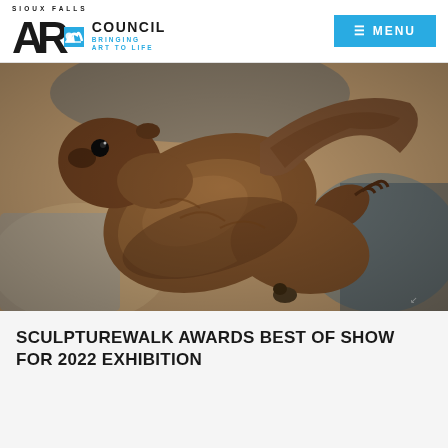SIOUX FALLS ART COUNCIL — BRINGING ART TO LIFE | MENU
[Figure (photo): Bronze sculpture of an otter or beaver-like animal arching its back and looking upward, photographed close-up against a blurred background with warm brown tones.]
SCULPTUREWALK AWARDS BEST OF SHOW FOR 2022 EXHIBITION